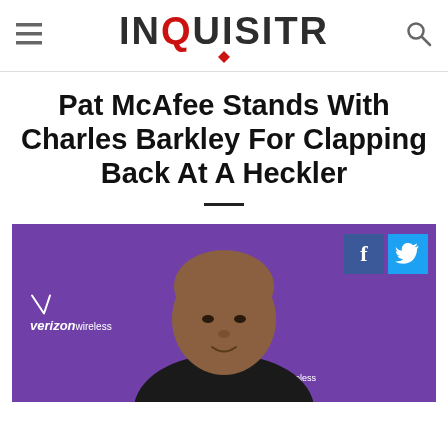INQUISITR
Pat McAfee Stands With Charles Barkley For Clapping Back At A Heckler
[Figure (photo): Charles Barkley seated at a press conference table in front of a purple Verizon Wireless backdrop, wearing a dark jacket. Social media share buttons (Facebook, Twitter) visible in upper right corner.]